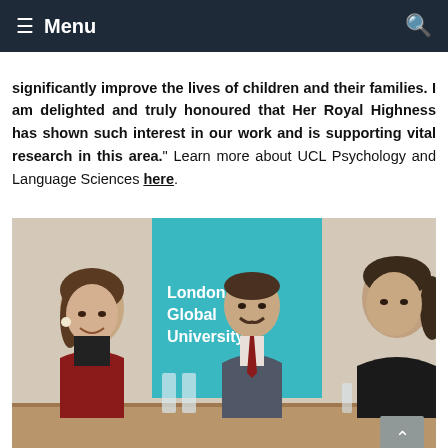Menu
significantly improve the lives of children and their families. I am delighted and truly honoured that Her Royal Highness has shown such interest in our work and is supporting vital research in this area." Learn more about UCL Psychology and Language Sciences here.
[Figure (photo): Three people seated at a conference table in conversation. A woman on the left in a red jacket is smiling and speaking. A man in the middle wears a grey suit with a red tie. A woman on the right in a black top. A teal banner in the background reads London's Global University.]